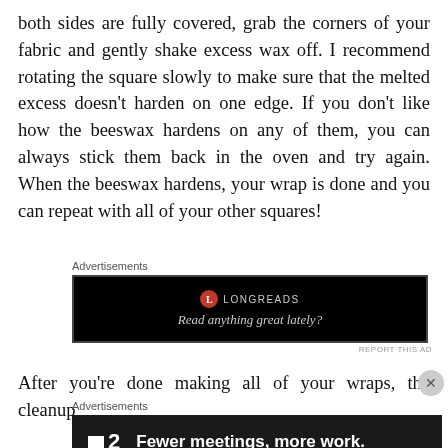both sides are fully covered, grab the corners of your fabric and gently shake excess wax off. I recommend rotating the square slowly to make sure that the melted excess doesn't harden on one edge. If you don't like how the beeswax hardens on any of them, you can always stick them back in the oven and try again. When the beeswax hardens, your wrap is done and you can repeat with all of your other squares!
[Figure (other): Longreads advertisement banner: black background with Longreads logo and tagline 'Read anything great lately?']
REPORT THIS AD
After you're done making all of your wraps, the cleanup
[Figure (other): Advertisement banner: dark background with '2' logo and text 'Fewer meetings, more work.']
REPORT THIS AD